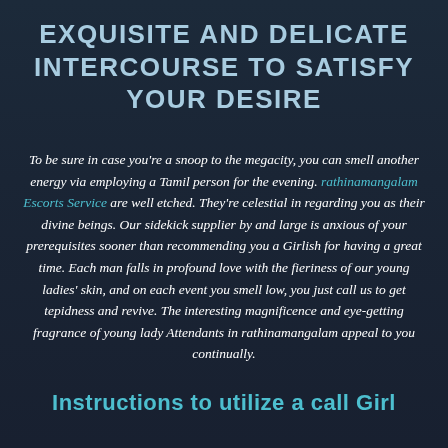EXQUISITE AND DELICATE INTERCOURSE TO SATISFY YOUR DESIRE
To be sure in case you're a snoop to the megacity, you can smell another energy via employing a Tamil person for the evening. rathinamangalam Escorts Service are well etched. They're celestial in regarding you as their divine beings. Our sidekick supplier by and large is anxious of your prerequisites sooner than recommending you a Girlish for having a great time. Each man falls in profound love with the fieriness of our young ladies' skin, and on each event you smell low, you just call us to get tepidness and revive. The interesting magnificence and eye-getting fragrance of young lady Attendants in rathinamangalam appeal to you continually.
Instructions to utilize a call Girl